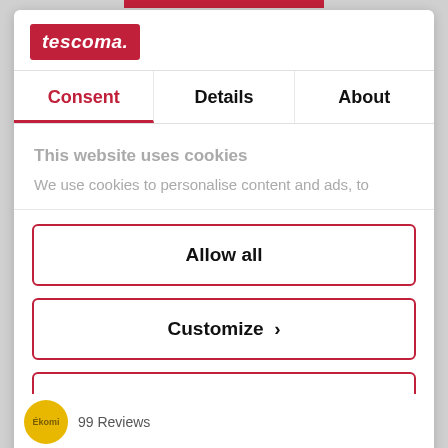[Figure (logo): Tescoma logo — white italic bold text on red background]
Consent | Details | About
This website uses cookies
We use cookies to personalise content and ads, to
Allow all
Customize >
Deny
Powered by Cookiebot by Usercentrics
99 Reviews